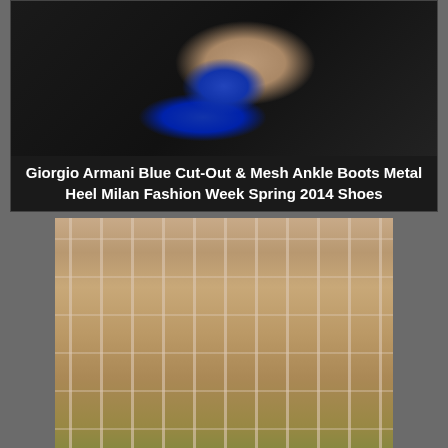[Figure (photo): Close-up photo of a blue Giorgio Armani cut-out mesh ankle boot with metal heel on a dark background, from Milan Fashion Week Spring 2014]
Giorgio Armani Blue Cut-Out & Mesh Ankle Boots Metal Heel Milan Fashion Week Spring 2014 Shoes
[Figure (photo): Close-up photo of lace-up gladiator style tall boots with cream/beige straps and lacing, worn on feet with blurred background]